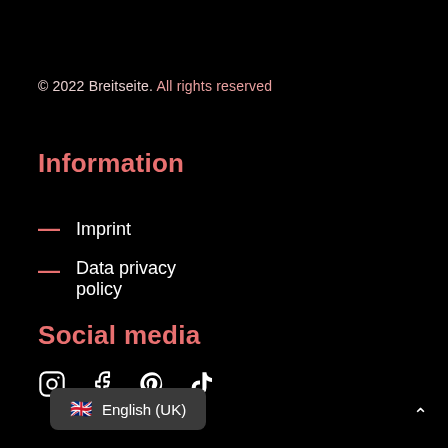© 2022 Breitseite. All rights reserved
Information
— Imprint
— Data privacy policy
Social media
[Figure (illustration): Social media icons: Instagram, Facebook, Pinterest, TikTok]
🇬🇧 English (UK)